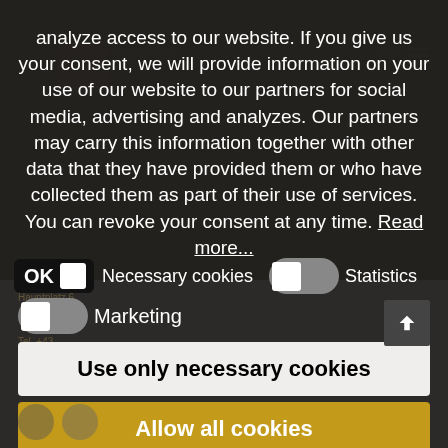analyze access to our website. If you give us your consent, we will provide information on your use of our website to our partners for social media, advertising and analyzes. Our partners may carry this information together with other data that they have provided them or who have collected them as part of their use of services. You can revoke your consent at any time. Read more...
OK  Necessary cookies  Statistics
Marketing
Use only necessary cookies
Allow all cookies